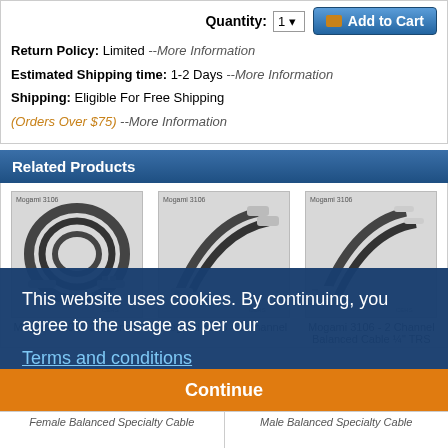Quantity: 1  Add to Cart
Return Policy: Limited --More Information
Estimated Shipping time: 1-2 Days --More Information
Shipping: Eligible For Free Shipping
(Orders Over $75) --More Information
Related Products
[Figure (photo): Mogami 3106 - 2 Channel cable coiled with connectors]
[Figure (photo): Mogami 3106 - 2 Channel cable with XLR connectors]
[Figure (photo): Mogami 3106 - 2 Channel cable with 1/4 TRS connectors]
Mogami 3106 - 2 Channel
Mogami 3106 - 2 Channel
Mogami 3106 - 2 Channel Balanced Cable 1/4" TRS
This website uses cookies. By continuing, you agree to the usage as per our Terms and conditions
Continue
Female Balanced Specialty Cable
Male Balanced Specialty Cable